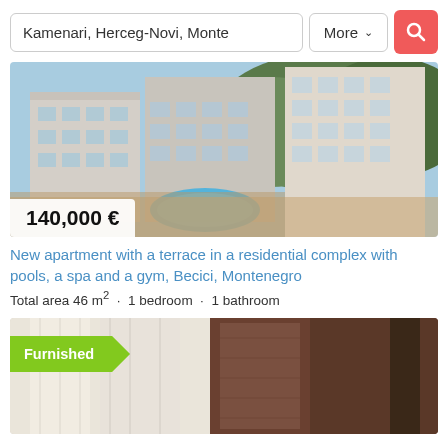[Figure (screenshot): Search bar with text input showing 'Kamenari, Herceg-Novi, Monte', a 'More' dropdown button, and a red search icon button]
[Figure (photo): Aerial/exterior photo of a residential apartment complex with pools, Becici, Montenegro. Price badge '140,000 €' in bottom-left corner.]
New apartment with a terrace in a residential complex with pools, a spa and a gym, Becici, Montenegro
Total area 46 m² · 1 bedroom · 1 bathroom
[Figure (photo): Interior photo of a furnished apartment. A green ribbon badge reads 'Furnished'.]